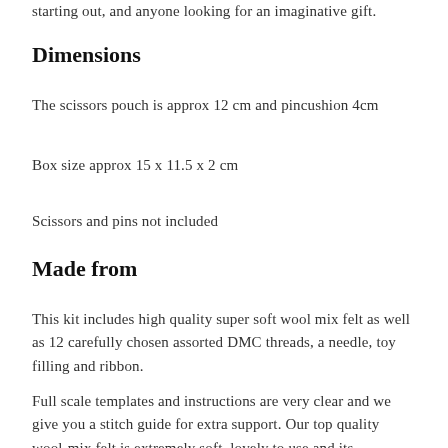starting out, and anyone looking for an imaginative gift.
Dimensions
The scissors pouch is approx 12 cm and pincushion 4cm
Box size approx 15 x 11.5 x 2 cm
Scissors and pins not included
Made from
This kit includes high quality super soft wool mix felt as well as 12 carefully chosen assorted DMC threads, a needle, toy filling and ribbon.
Full scale templates and instructions are very clear and we give you a stitch guide for extra support. Our top quality wool-mix felt is extremely soft, lovely to use and its